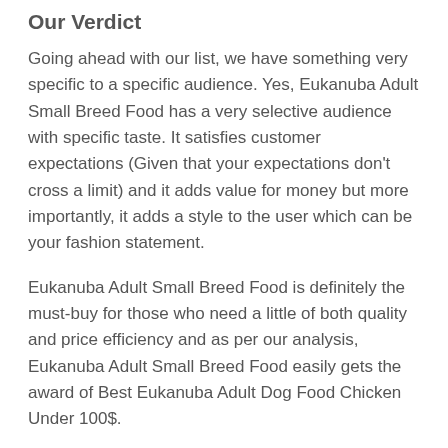Our Verdict
Going ahead with our list, we have something very specific to a specific audience. Yes, Eukanuba Adult Small Breed Food has a very selective audience with specific taste. It satisfies customer expectations (Given that your expectations don't cross a limit) and it adds value for money but more importantly, it adds a style to the user which can be your fashion statement.
Eukanuba Adult Small Breed Food is definitely the must-buy for those who need a little of both quality and price efficiency and as per our analysis, Eukanuba Adult Small Breed Food easily gets the award of Best Eukanuba Adult Dog Food Chicken Under 100$.
4. Eukanuba Adult Large Formula Pounds